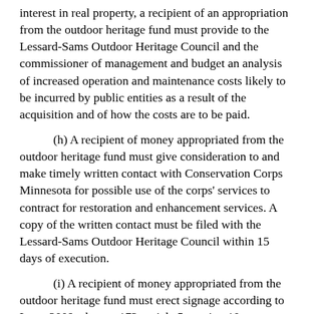(g) ...interest in real property, a recipient of an appropriation from the outdoor heritage fund must provide to the Lessard-Sams Outdoor Heritage Council and the commissioner of management and budget an analysis of increased operation and maintenance costs likely to be incurred by public entities as a result of the acquisition and of how the costs are to be paid.
(h) A recipient of money appropriated from the outdoor heritage fund must give consideration to and make timely written contact with Conservation Corps Minnesota for possible use of the corps' services to contract for restoration and enhancement services. A copy of the written contact must be filed with the Lessard-Sams Outdoor Heritage Council within 15 days of execution.
(i) A recipient of money appropriated from the outdoor heritage fund must erect signage according to Laws 2009, chapter 172, article 5, section 10.
(j) At least 30 days before closing on an acquisition of land in fee title with money in whole or in part from the outdoor heritage fund, a nongovernmental organization must notify in writing the county board and town board where the